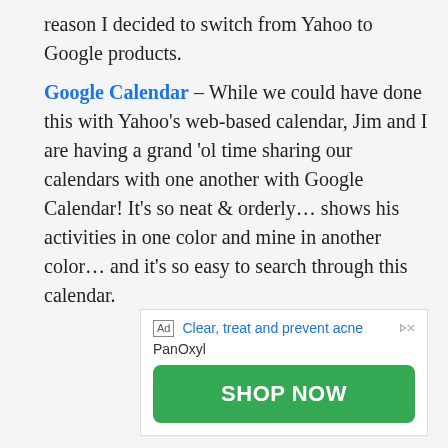reason I decided to switch from Yahoo to Google products.
Google Calendar – While we could have done this with Yahoo's web-based calendar, Jim and I are having a grand 'ol time sharing our calendars with one another with Google Calendar! It's so neat & orderly… shows his activities in one color and mine in another color… and it's so easy to search through this calendar.
[Figure (other): Advertisement banner: 'Clear, treat and prevent acne' by PanOxyl with a green 'SHOP NOW' button]